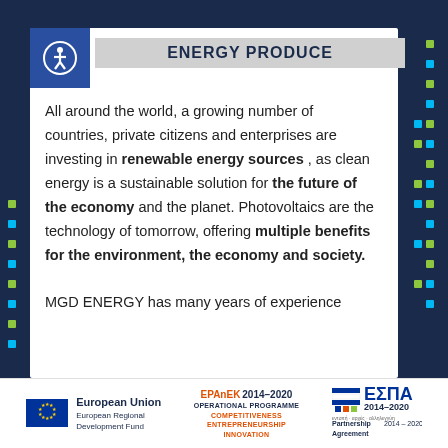ENERGY PRODUCE
All around the world, a growing number of countries, private citizens and enterprises are investing in renewable energy sources , as clean energy is a sustainable solution for the future of the economy and the planet. Photovoltaics are the technology of tomorrow, offering multiple benefits for the environment, the economy and society.

MGD ENERGY has many years of experience
[Figure (logo): European Union / European Regional Development Fund logo, EPAnEK 2014-2020 Operational Programme Competitiveness Entrepreneurship Innovation logo, ESPA 2014-2020 Partnership Agreement logo]
[Figure (logo): Accessibility icon in blue square, top left corner]